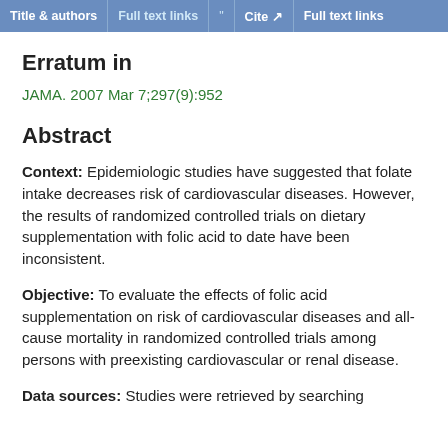Title & authors | Full text links | Cite | Full text links
Erratum in
JAMA. 2007 Mar 7;297(9):952
Abstract
Context: Epidemiologic studies have suggested that folate intake decreases risk of cardiovascular diseases. However, the results of randomized controlled trials on dietary supplementation with folic acid to date have been inconsistent.
Objective: To evaluate the effects of folic acid supplementation on risk of cardiovascular diseases and all-cause mortality in randomized controlled trials among persons with preexisting cardiovascular or renal disease.
Data sources: Studies were retrieved by searching